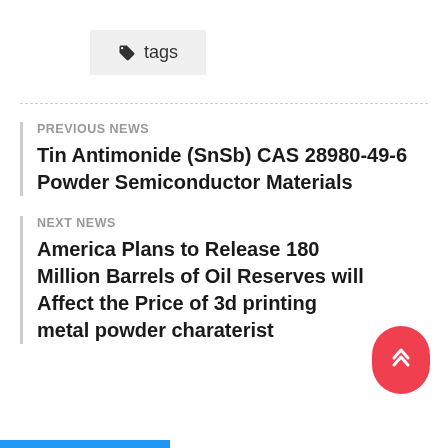tags
PREVIOUS NEWS
Tin Antimonide (SnSb) CAS 28980-49-6 Powder Semiconductor Materials
NEXT NEWS
America Plans to Release 180 Million Barrels of Oil Reserves will Affect the Price of 3d printing metal powder charaterist